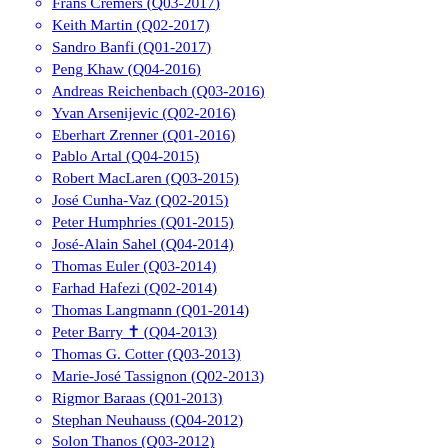Frans Cremers (Q03-2017)
Keith Martin (Q02-2017)
Sandro Banfi (Q01-2017)
Peng Khaw (Q04-2016)
Andreas Reichenbach (Q03-2016)
Yvan Arsenijevic (Q02-2016)
Eberhart Zrenner (Q01-2016)
Pablo Artal (Q04-2015)
Robert MacLaren (Q03-2015)
José Cunha-Vaz (Q02-2015)
Peter Humphries (Q01-2015)
José-Alain Sahel (Q04-2014)
Thomas Euler (Q03-2014)
Farhad Hafezi (Q02-2014)
Thomas Langmann (Q01-2014)
Peter Barry ✝ (Q04-2013)
Thomas G. Cotter (Q03-2013)
Marie-José Tassignon (Q02-2013)
Rigmor Baraas (Q01-2013)
Stephan Neuhauss (Q04-2012)
Solon Thanos (Q03-2012)
David Hicks (Q02-2012)
Robin Ali (Q01-2012)
Stefan Seregard (Q04-2011)
Botond Roska (Q03-2011)